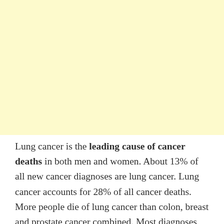[Figure (other): Large light yellow/cream colored rectangular background block occupying the top portion of the page.]
Lung cancer is the leading cause of cancer deaths in both men and women. About 13% of all new cancer diagnoses are lung cancer. Lung cancer accounts for 28% of all cancer deaths. More people die of lung cancer than colon, breast and prostate cancer combined. Most diagnoses are in people over the age of 40 with the average age being 60.